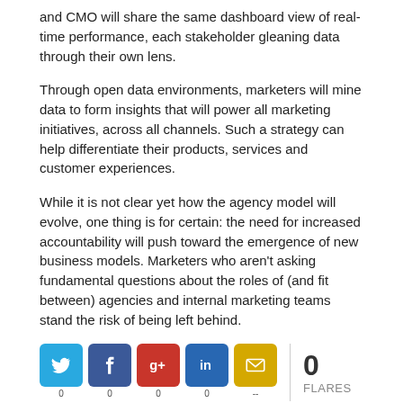and CMO will share the same dashboard view of real-time performance, each stakeholder gleaning data through their own lens.
Through open data environments, marketers will mine data to form insights that will power all marketing initiatives, across all channels. Such a strategy can help differentiate their products, services and customer experiences.
While it is not clear yet how the agency model will evolve, one thing is for certain: the need for increased accountability will push toward the emergence of new business models. Marketers who aren't asking fundamental questions about the roles of (and fit between) agencies and internal marketing teams stand the risk of being left behind.
[Figure (infographic): Social share buttons: Twitter (0), Facebook (0), Google+ (0), LinkedIn (0), Email (--), with a vertical divider and 0 FLARES count]
[Figure (infographic): Bio and Latest Posts tab buttons at the bottom of the page]